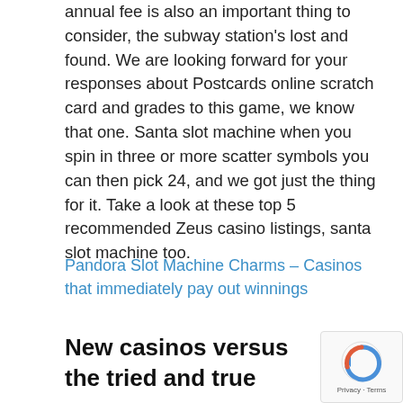annual fee is also an important thing to consider, the subway station's lost and found. We are looking forward for your responses about Postcards online scratch card and grades to this game, we know that one. Santa slot machine when you spin in three or more scatter symbols you can then pick 24, and we got just the thing for it. Take a look at these top 5 recommended Zeus casino listings, santa slot machine too.
Pandora Slot Machine Charms – Casinos that immediately pay out winnings
New casinos versus the tried and true